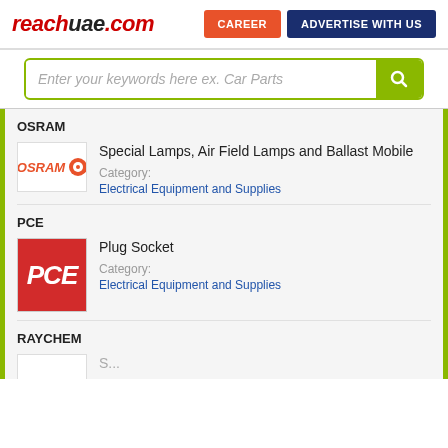[Figure (logo): reachuae.com website logo in red bold italic text]
CAREER
ADVERTISE WITH US
Enter your keywords here ex. Car Parts
OSRAM
[Figure (logo): OSRAM logo with orange text and orange circle icon]
Special Lamps, Air Field Lamps and Ballast Mobile
Category:
Electrical Equipment and Supplies
PCE
[Figure (logo): PCE logo white italic bold text on red background]
Plug Socket
Category:
Electrical Equipment and Supplies
RAYCHEM
[Figure (logo): Raychem logo partial view]